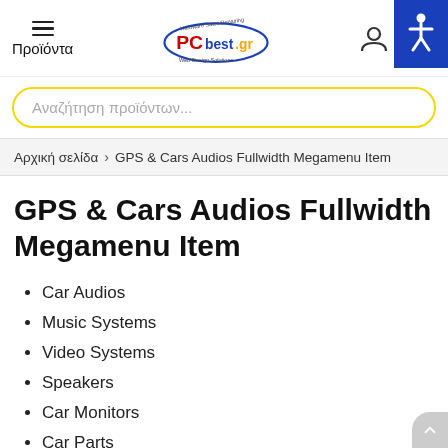Προϊόντα | PCbest.gr
Αναζήτηση προϊόντων...
Αρχική σελίδα > GPS & Cars Audios Fullwidth Megamenu Item
GPS & Cars Audios Fullwidth Megamenu Item
Car Audios
Music Systems
Video Systems
Speakers
Car Monitors
Car Parts
Monitoring
Network Jammers